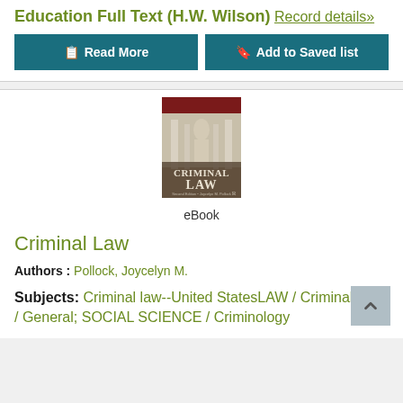Education Full Text (H.W. Wilson)
Record details»
Read More | Add to Saved list
[Figure (photo): Book cover for Criminal Law, second edition by Joycelyn M. Pollock, showing a classical statue with columns]
eBook
Criminal Law
Authors : Pollock, Joycelyn M.
Subjects: Criminal law--United StatesLAW / Criminal Law / General; SOCIAL SCIENCE / Criminology